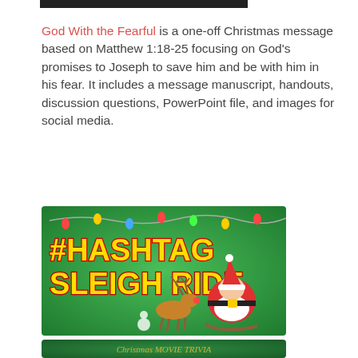God With the Fearful is a one-off Christmas message based on Matthew 1:18-25 focusing on God's promises to Joseph to save him and be with him in his fear. It includes a message manuscript, handouts, discussion questions, PowerPoint file, and images for social media.
[Figure (illustration): Green banner image with text '#HASHTAG SLEIGH RIDE' in large stylized yellow/red font with Santa Claus on a sleigh and reindeer on a green background with Christmas lights]
[Figure (illustration): Green banner image with movie-themed items (popcorn, film reel, ornaments) and text 'Christmas MOVIE TRIVIA' in gold script font on a dark green background]